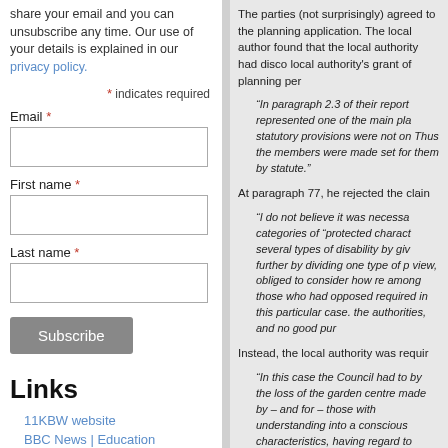share your email and you can unsubscribe any time. Our use of your details is explained in our privacy policy.
* indicates required
Email *
First name *
Last name *
Subscribe
Links
11KBW website
BBC News | Education
Panopticon Blog
School Exclusion Project
The parties (not surprisingly) agreed to the planning application. The local authority found that the local authority had discovered local authority's grant of planning per...
“In paragraph 2.3 of their report... represented one of the main planning statutory provisions were not on... Thus the members were made... set for them by statute.”
At paragraph 77, he rejected the claim...
“I do not believe it was necessary... categories of “protected characteristics”... several types of disability by giving... further by dividing one type of p... view, obliged to consider how re... among those who had opposed... required in this particular case... the authorities, and no good pur...”
Instead, the local authority was required...
“In this case the Council had to... by the loss of the garden centre... made by – and for – those with... understanding into a conscious... characteristics, having regard to... characteristics was the loss of th... some with protected characteris... characteristics more seriously th... have to consider the impact...”